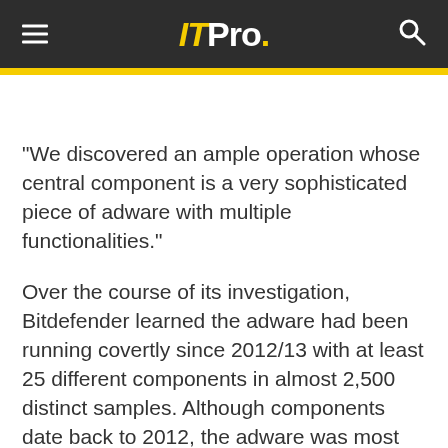ITPro.
"We discovered an ample operation whose central component is a very sophisticated piece of adware with multiple functionalities."
Over the course of its investigation, Bitdefender learned the adware had been running covertly since 2012/13 with at least 25 different components in almost 2,500 distinct samples. Although components date back to 2012, the adware was most active